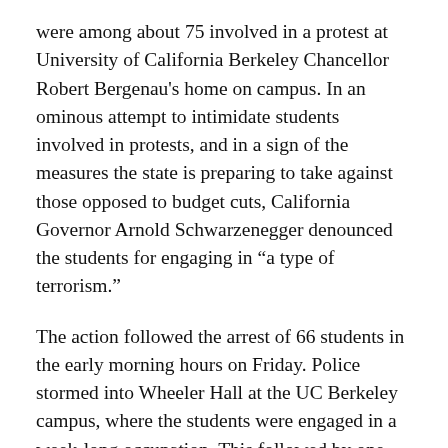were among about 75 involved in a protest at University of California Berkeley Chancellor Robert Bergenau's home on campus. In an ominous attempt to intimidate students involved in protests, and in a sign of the measures the state is preparing to take against those opposed to budget cuts, California Governor Arnold Schwarzenegger denounced the students for engaging in “a type of terrorism.”
The action followed the arrest of 66 students in the early morning hours on Friday. Police stormed into Wheeler Hall at the UC Berkeley campus, where the students were engaged in a week-long occupation. This followed by one day the arrest of 25 students at San Francisco State University, who were also engaged in an occupation to protest budget cuts.
The San Francisco Chronicle reported that as many as 75 people surrounded Bergenau’s mansion, known as